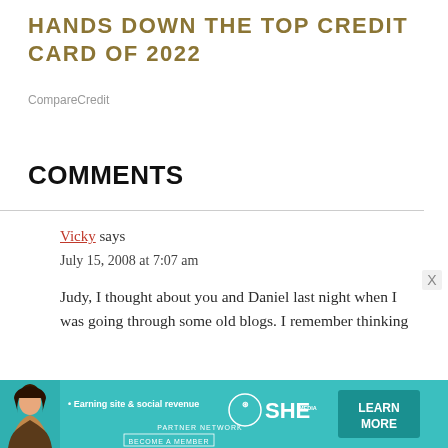HANDS DOWN THE TOP CREDIT CARD OF 2022
CompareCredit
COMMENTS
Vicky says
July 15, 2008 at 7:07 am

Judy, I thought about you and Daniel last night when I was going through some old blogs. I remember thinking
[Figure (infographic): Advertisement banner for SHE Media Partner Network. Features a woman's photo, text '• Earning site & social revenue', SHE logo with 'PARTNER NETWORK' and 'BECOME A MEMBER', and a teal 'LEARN MORE' button.]